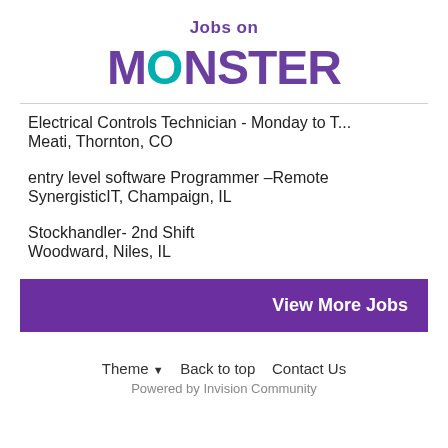Jobs on MONSTER
Electrical Controls Technician - Monday to T...
Meati, Thornton, CO
entry level software Programmer –Remote
SynergisticIT, Champaign, IL
Stockhandler- 2nd Shift
Woodward, Niles, IL
View More Jobs
Theme ▼   Back to top   Contact Us
Powered by Invision Community